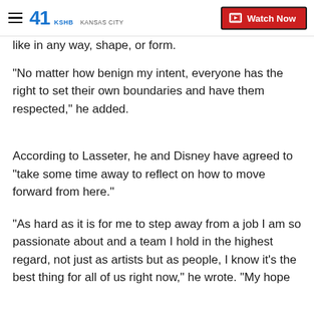KSHB 41 KANSAS CITY | Watch Now
like in any way, shape, or form.
"No matter how benign my intent, everyone has the right to set their own boundaries and have them respected," he added.
According to Lasseter, he and Disney have agreed to "take some time away to reflect on how to move forward from here."
"As hard as it is for me to step away from a job I am so passionate about and a team I hold in the highest regard, not just as artists but as people, I know it's the best thing for all of us right now," he wrote. "My hope